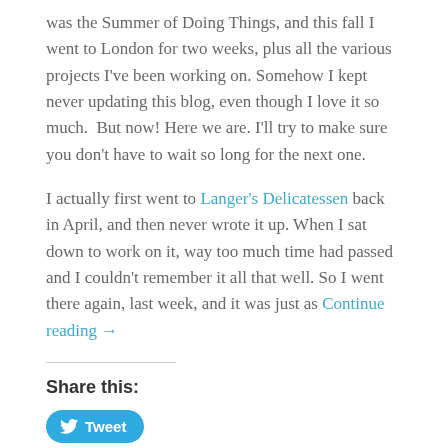was the Summer of Doing Things, and this fall I went to London for two weeks, plus all the various projects I've been working on. Somehow I kept never updating this blog, even though I love it so much.  But now! Here we are. I'll try to make sure you don't have to wait so long for the next one.
I actually first went to Langer's Delicatessen back in April, and then never wrote it up. When I sat down to work on it, way too much time had passed and I couldn't remember it all that well. So I went there again, last week, and it was just as Continue reading →
Share this:
[Figure (other): A blue Tweet button with Twitter bird icon]